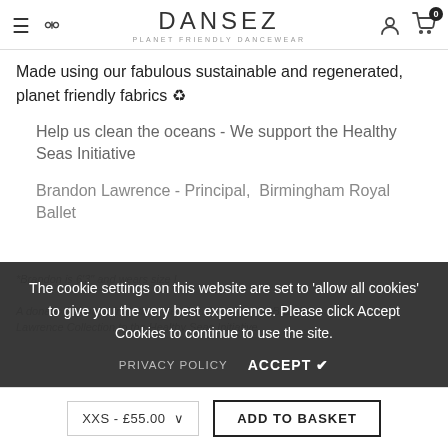DANSEZ - PLANET FRIENDLY DANCEWEAR
Made using our fabulous sustainable and regenerated, planet friendly fabrics ♻
Help us clean the oceans - We support the Healthy Seas Initiative
Brandon Lawrence - Principal,  Birmingham Royal Ballet
The cookie settings on this website are set to 'allow all cookies' to give you the very best experience. Please click Accept Cookies to continue to use the site.
PRIVACY POLICY   ACCEPT ✔
XXS - £55.00  ∨   ADD TO BASKET